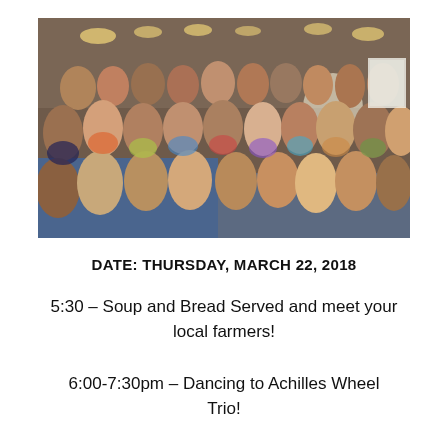[Figure (photo): A large crowded indoor event space with many people seated at tables and standing, with hanging lights on the ceiling, in what appears to be a stone or brick building.]
DATE: THURSDAY, MARCH 22, 2018
5:30 – Soup and Bread Served and meet your local farmers!
6:00-7:30pm – Dancing to Achilles Wheel Trio!